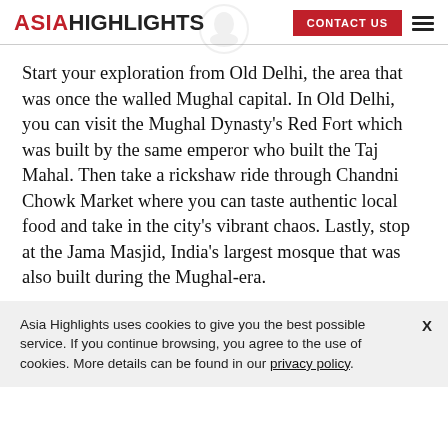ASIA HIGHLIGHTS | CONTACT US
Start your exploration from Old Delhi, the area that was once the walled Mughal capital. In Old Delhi, you can visit the Mughal Dynasty’s Red Fort which was built by the same emperor who built the Taj Mahal. Then take a rickshaw ride through Chandni Chowk Market where you can taste authentic local food and take in the city’s vibrant chaos. Lastly, stop at the Jama Masjid, India’s largest mosque that was also built during the Mughal-era.
Asia Highlights uses cookies to give you the best possible service. If you continue browsing, you agree to the use of cookies. More details can be found in our privacy policy.